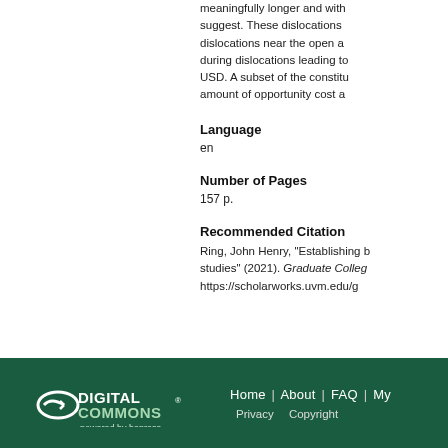meaningfully longer and with… suggest. These dislocations… dislocations near the open ar… during dislocations leading to… USD. A subset of the constitu… amount of opportunity cost a…
Language
en
Number of Pages
157 p.
Recommended Citation
Ring, John Henry, "Establishing b… studies" (2021). Graduate Colleg… https://scholarworks.uvm.edu/g…
Digital Commons powered by bepress | Home | About | FAQ | My… | Privacy | Copyright